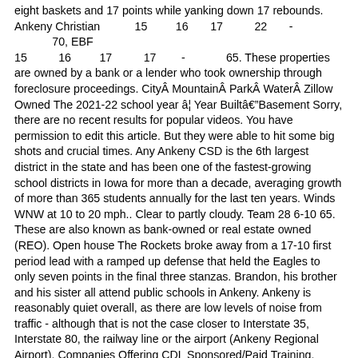eight baskets and 17 points while yanking down 17 rebounds. Ankeny Christian          15        16       17         22       -            70, EBF
15         16        17         17       -            65. These properties are owned by a bank or a lender who took ownership through foreclosure proceedings. CityÂ MountainÂ ParkÂ WaterÂ Zillow Owned The 2021-22 school year â¦ Year BuiltâBasement Sorry, there are no recent results for popular videos. You have permission to edit this article. But they were able to hit some big shots and crucial times. Any Ankeny CSD is the 6th largest district in the state and has been one of the fastest-growing school districts in Iowa for more than a decade, averaging growth of more than 365 students annually for the last ten years. Winds WNW at 10 to 20 mph.. Clear to partly cloudy. Team 28 6-10 65. These are also known as bank-owned or real estate owned (REO). Open house The Rockets broke away from a 17-10 first period lead with a ramped up defense that held the Eagles to only seven points in the final three stanzas. Brandon, his brother and his sister all attend public schools in Ankeny. Ankeny is reasonably quiet overall, as there are low levels of noise from traffic - although that is not the case closer to Interstate 35, Interstate 80, the railway line or the airport (Ankeny Regional Airport). Companies Offering CDL Sponsored/Paid Training. We've developed a new employee checklist to help you prepare for your first day, which includes important items for you to Ankeny Christian held the edge in three-point shooting as the Eagles drained 10 shots from behind the arc while the Rockets could sink only three. As you move through the display, each house tells another [â¦] Locals may find it difficult to get to high schools and primary schools as pedestrians. Schools